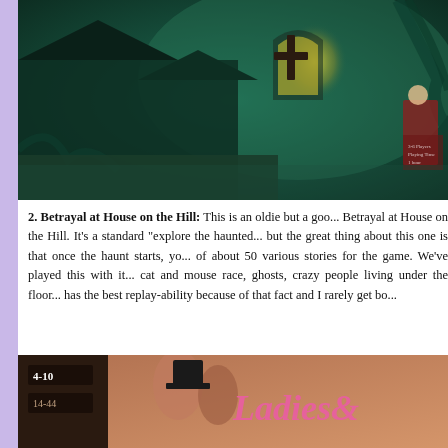[Figure (photo): Board game box for Betrayal at House on the Hill showing a haunted house with green atmospheric lighting, a cross/gravestone, and gothic imagery on a dark teal/green background]
2. Betrayal at House on the Hill: This is an oldie but a goo... Betrayal at House on the Hill. It's a standard "explore the haunted... but the great thing about this one is that once the haunt starts, yo... of about 50 various stories for the game. We've played this with it... cat and mouse race, ghosts, crazy people living under the floor... has the best replay-ability because of that fact and I rarely get bo...
[Figure (photo): Board game box partially visible showing 'Ladies &' text in pink lettering with stylized illustrations]